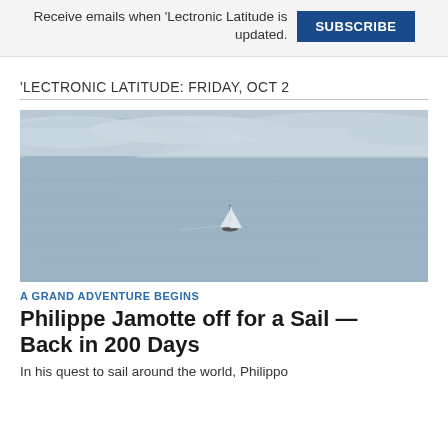Receive emails when 'Lectronic Latitude is updated.
SUBSCRIBE
'LECTRONIC LATITUDE: FRIDAY, OCT 2
[Figure (photo): Aerial view of a lone sailboat on calm foggy water with low clouds and forested hills in the background.]
A GRAND ADVENTURE BEGINS
Philippe Jamotte off for a Sail — Back in 200 Days
In his quest to sail around the world, Philippo